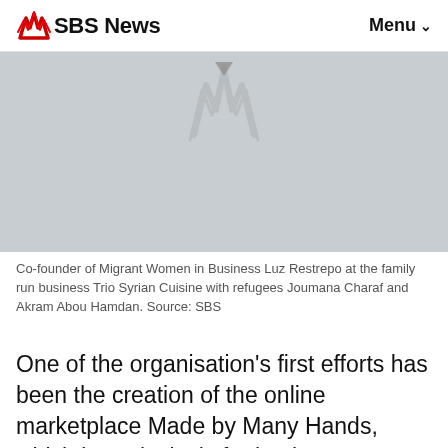SBS News  Menu
[Figure (photo): Grey placeholder image with faint SBS watermark and a small downward-pointing triangle/play indicator near the top center]
Co-founder of Migrant Women in Business Luz Restrepo at the family run business Trio Syrian Cuisine with refugees Joumana Charaf and Akram Abou Hamdan. Source: SBS
One of the organisation's first efforts has been the creation of the online marketplace Made by Many Hands, which is exclusively for businesses run by